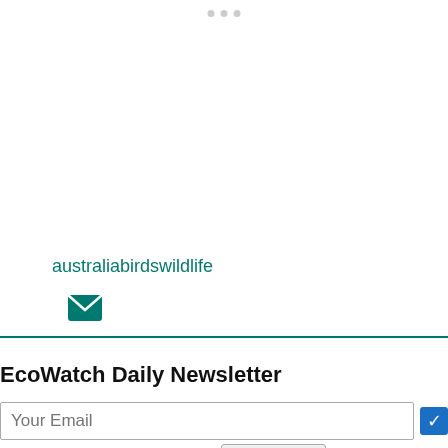[Figure (other): Carousel dots navigation indicator at top of page]
australiabirdswildlife
[Figure (other): Email/envelope icon in teal color]
EcoWatch Daily Newsletter
Your Email
Sign me up for the newsletter!
Subscribe